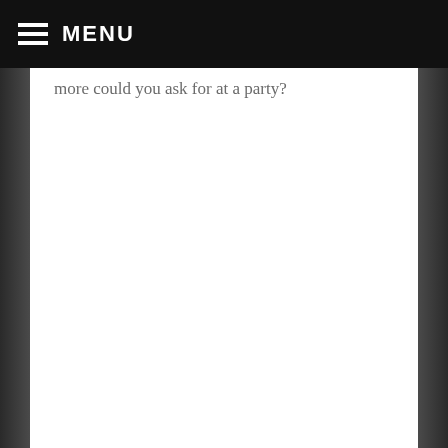MENU
more could you ask for at a party?